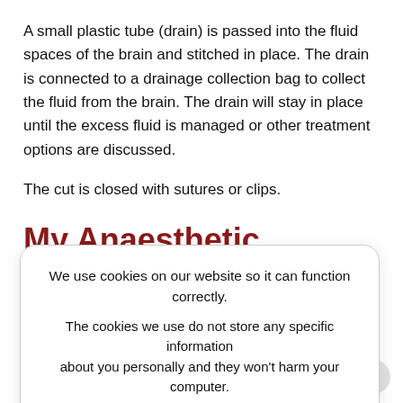A small plastic tube (drain) is passed into the fluid spaces of the brain and stitched in place. The drain is connected to a drainage collection bag to collect the fluid from the brain. The drain will stay in place until the excess fluid is managed or other treatment options are discussed.
The cut is closed with sutures or clips.
My Anaesthetic
This procedure will require a General Anaesthetic.
We use cookies on our website so it can function correctly. The cookies we use do not store any specific information about you personally and they won't harm your computer. See our privacy policy for more information.
See About your Anaesthetic information sheet for information about the anaesthetic and the risks involved. If you have any concerns, talk these over with your doctor.
If you have not been given an information sheet, please ask